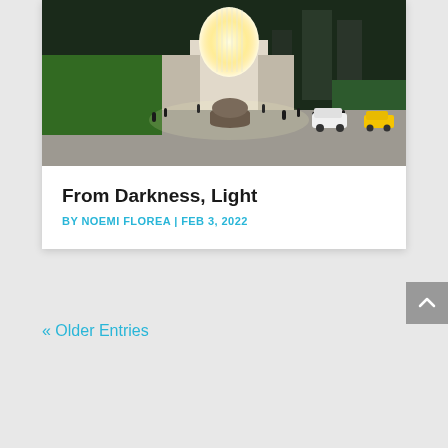[Figure (photo): Architectural rendering of a glowing dome-shaped building at night, surrounded by urban scenery with people on stairs and pathways. City buildings and greenery visible in the background.]
From Darkness, Light
BY NOEMI FLOREA | FEB 3, 2022
« Older Entries